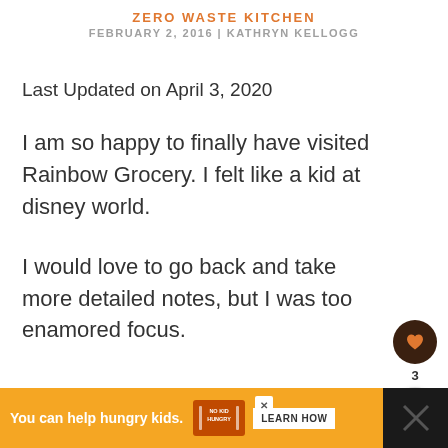ZERO WASTE KITCHEN
FEBRUARY 2, 2016 | KATHRYN KELLOGG
Last Updated on April 3, 2020
I am so happy to finally have visited Rainbow Grocery. I felt like a kid at disney world.
I would love to go back and take more detailed notes, but I was too enamored focus.
[Figure (infographic): Orange advertisement banner at bottom: 'You can help hungry kids.' with No Kid Hungry logo and LEARN HOW button, with X close button]
[Figure (infographic): Floating action buttons on right side: dark brown heart/like button with count 3, and white share button]